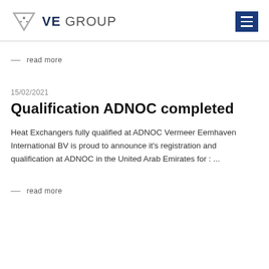VE GROUP
— read more
15/02/2021
Qualification ADNOC completed
Heat Exchangers fully qualified at ADNOC Vermeer Eemhaven International BV is proud to announce it's registration and qualification at ADNOC in the United Arab Emirates for : ...
— read more